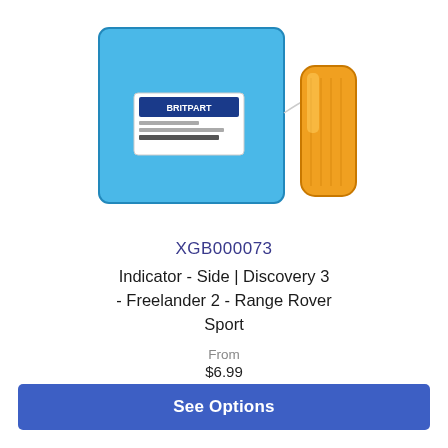[Figure (photo): Product photo showing a blue Britpart packaging bag and an amber/orange side indicator light unit on a white background.]
XGB000073
Indicator - Side | Discovery 3 - Freelander 2 - Range Rover Sport
From
$6.99
$5.83
See Options